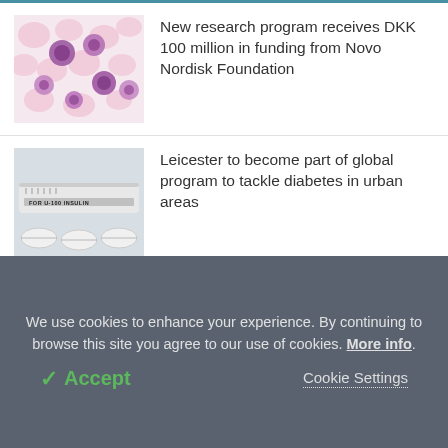[Figure (photo): Microscope image of blood cells, pink and purple cells on white background]
New research program receives DKK 100 million in funding from Novo Nordisk Foundation
[Figure (photo): Close-up of insulin pen labeled FOR U-100 INSULIN with white pills]
Leicester to become part of global program to tackle diabetes in urban areas
[Figure (photo): Close-up of skin or finger, partial view, tan/peach color]
RetiPharma secures funding to develop
We use cookies to enhance your experience. By continuing to browse this site you agree to our use of cookies. More info.
✓ Accept
Cookie Settings